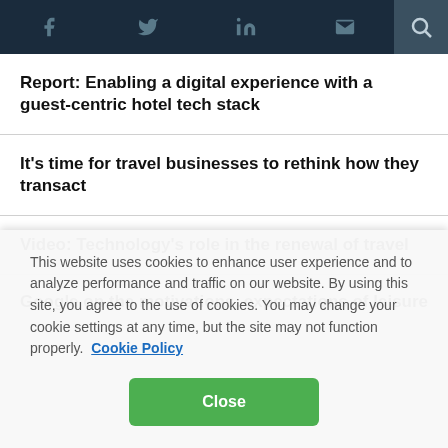Social nav bar with icons: facebook, twitter, linkedin, email, search
Report: Enabling a digital experience with a guest-centric hotel tech stack
It’s time for travel businesses to rethink how they transact
Video: Technology’s role in the renewal of travel
Google on the motivations, expectations of leisure
This website uses cookies to enhance user experience and to analyze performance and traffic on our website. By using this site, you agree to the use of cookies. You may change your cookie settings at any time, but the site may not function properly.  Cookie Policy
Close